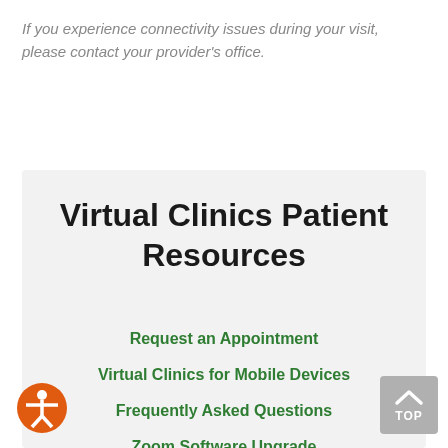If you experience connectivity issues during your visit, please contact your provider's office.
Virtual Clinics Patient Resources
Request an Appointment
Virtual Clinics for Mobile Devices
Frequently Asked Questions
Zoom Software Upgrade